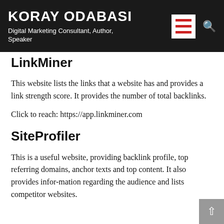KORAY ODABASI
Digital Marketing Consultant, Author, Speaker
LinkMiner
This website lists the links that a website has and provides a link strength score. It provides the number of total backlinks.
Click to reach: https://app.linkminer.com
SiteProfiler
This is a useful website, providing backlink profile, top referring domains, anchor texts and top content. It also provides infor-mation regarding the audience and lists competitor websites.